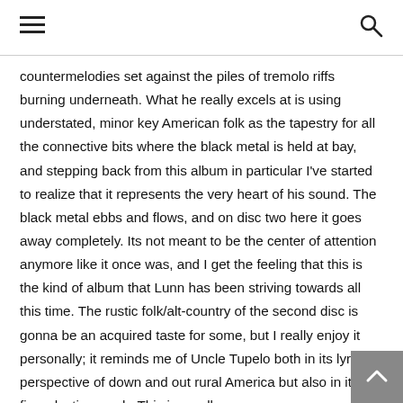≡  🔍
countermelodies set against the piles of tremolo riffs burning underneath. What he really excels at is using understated, minor key American folk as the tapestry for all the connective bits where the black metal is held at bay, and stepping back from this album in particular I've started to realize that it represents the very heart of his sound. The black metal ebbs and flows, and on disc two here it goes away completely. Its not meant to be the center of attention anymore like it once was, and I get the feeling that this is the kind of album that Lunn has been striving towards all this time. The rustic folk/alt-country of the second disc is gonna be an acquired taste for some, but I really enjoy it personally; it reminds me of Uncle Tupelo both in its lyrical perspective of down and out rural America but also in its lo-fi production wash. This is an album